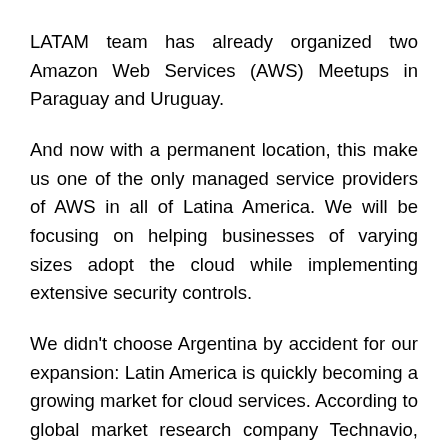LATAM team has already organized two Amazon Web Services (AWS) Meetups in Paraguay and Uruguay.
And now with a permanent location, this make us one of the only managed service providers of AWS in all of Latina America. We will be focusing on helping businesses of varying sizes adopt the cloud while implementing extensive security controls.
We didn't choose Argentina by accident for our expansion: Latin America is quickly becoming a growing market for cloud services. According to global market research company Technavio, cloud computing is expected to increase substantially over the next several years in the region. By 2020, the compound annual growth rate (CAGR)